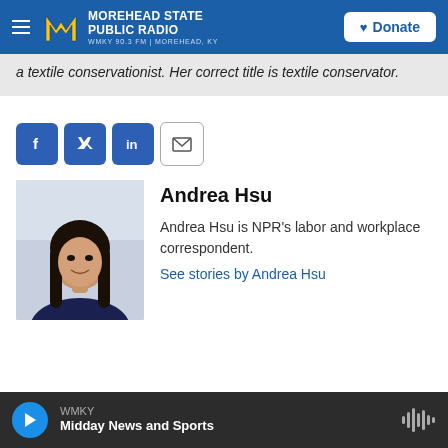Morehead State Public Radio — WMKY 90.3 FM | Morehead, KY — Donate
a textile conservationist. Her correct title is textile conservator.
[Figure (other): Social sharing buttons: Facebook, Twitter, LinkedIn, Email]
[Figure (photo): Headshot photo of Andrea Hsu]
Andrea Hsu
Andrea Hsu is NPR's labor and workplace correspondent.
See stories by Andrea Hsu
WMKY — Midday News and Sports